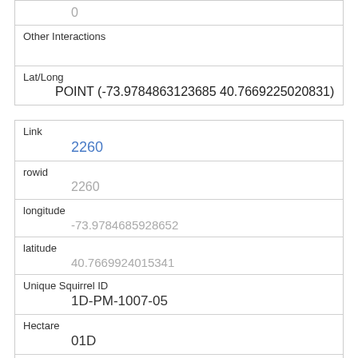|  | 0 |
| Other Interactions |  |
| Lat/Long | POINT (-73.9784863123685 40.7669225020831) |
| Link | 2260 |
| rowid | 2260 |
| longitude | -73.9784685928652 |
| latitude | 40.7669924015341 |
| Unique Squirrel ID | 1D-PM-1007-05 |
| Hectare | 01D |
| Shift | PM |
| Date |  |